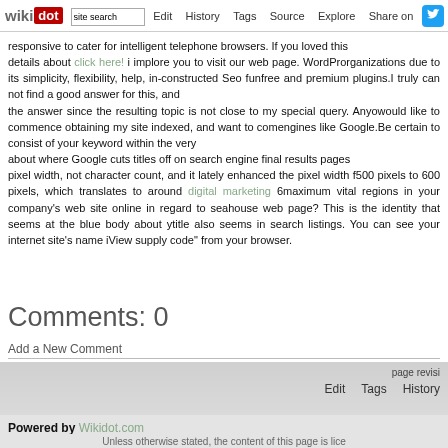wikidot | Edit | History | Tags | Source | Explore | Share on [Twitter]
responsive to cater for intelligent telephone browsers. If you loved this details about click here! i implore you to visit our web page. WordPress organizations due to its simplicity, flexibility, help, in-constructed Seo functions, free and premium plugins. I truly can not find a good answer for this, and the answer since the resulting topic is not close to my special query. Anyone would like to commence obtaining my site indexed, and want to come engines like Google. Be certain to consist of your keyword within the very about where Google cuts titles off on search engine final results pages pixel width, not character count, and it lately enhanced the pixel width from 500 pixels to 600 pixels, which translates to around digital marketing 60 maximum vital regions in your company's web site online in regard to search house web page? This is the identity that seems at the blue body about your title also seems in search listings. You can see your internet site's name in View supply code" from your browser.
Comments: 0
Add a New Comment
page revision | Edit | Tags | History
Powered by Wikidot.com
Unless otherwise stated, the content of this page is lice...